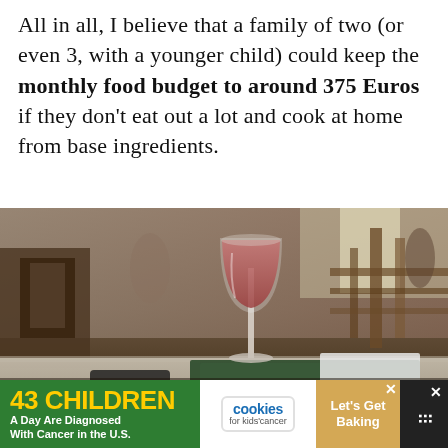All in all, I believe that a family of two (or even 3, with a younger child) could keep the monthly food budget to around 375 Euros if they don't eat out a lot and cook at home from base ingredients.
[Figure (photo): Photo of a restaurant table scene with a wine glass containing rosé wine, menus, and a blurred background showing restaurant interior with wooden railings. Social media interaction buttons (heart/like, share count 17, share icon) overlay the right side of the image.]
[Figure (infographic): Advertisement banner at bottom: green section reading '43 CHILDREN A Day Are Diagnosed With Cancer in the U.S.', cookies for kids cancer logo in middle, brown section reading 'Let's Get Baking' with close button, and dark end section.]